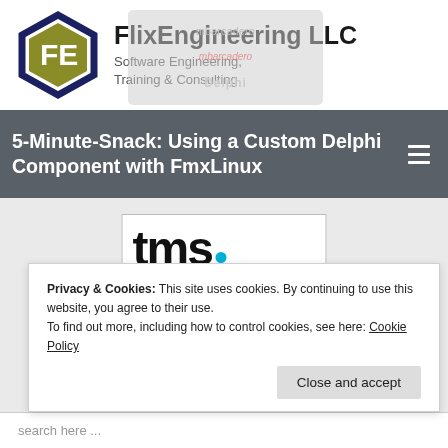[Figure (logo): FlixEngineering LLC hexagon logo with FE letters in olive/gold and dark navy border, alongside company name and tagline. Embarcadero/Delphi watermark overlay visible.]
5-Minute-Snack: Using a Custom Delphi Component with FmxLinux
[Figure (logo): TMS Software Certified Partner Consulting badge with tms. text and blue dot, gold certified partner consulting bar with checkmark]
Privacy & Cookies: This site uses cookies. By continuing to use this website, you agree to their use.
To find out more, including how to control cookies, see here: Cookie Policy
Close and accept
search here ...